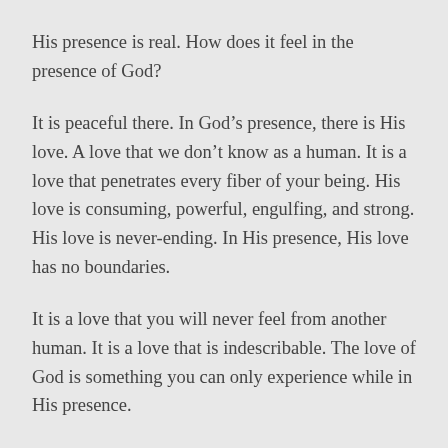His presence is real. How does it feel in the presence of God?
It is peaceful there. In God’s presence, there is His love. A love that we don’t know as a human. It is a love that penetrates every fiber of your being. His love is consuming, powerful, engulfing, and strong. His love is never-ending. In His presence, His love has no boundaries.
It is a love that you will never feel from another human. It is a love that is indescribable. The love of God is something you can only experience while in His presence.